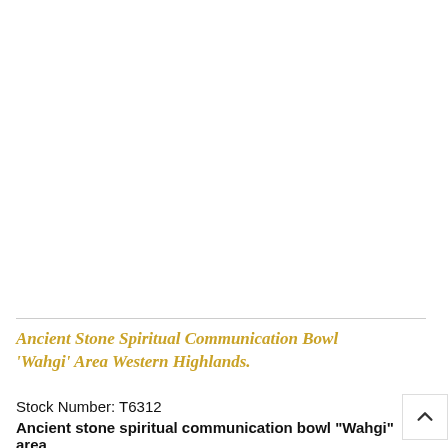[Figure (photo): White/blank image area representing a product photo placeholder for an ancient stone spiritual communication bowl]
Ancient Stone Spiritual Communication Bowl 'Wahgi' Area Western Highlands.
Stock Number: T6312
Ancient stone spiritual communication bowl 'Wahgi' area